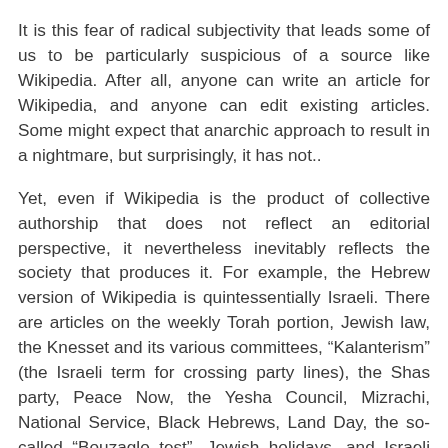It is this fear of radical subjectivity that leads some of us to be particularly suspicious of a source like Wikipedia. After all, anyone can write an article for Wikipedia, and anyone can edit existing articles. Some might expect that anarchic approach to result in a nightmare, but surprisingly, it has not..
Yet, even if Wikipedia is the product of collective authorship that does not reflect an editorial perspective, it nevertheless inevitably reflects the society that produces it. For example, the Hebrew version of Wikipedia is quintessentially Israeli. There are articles on the weekly Torah portion, Jewish law, the Knesset and its various committees, “Kalanterism” (the Israeli term for crossing party lines), the Shas party, Peace Now, the Yesha Council, Mizrachi, National Service, Black Hebrews, Land Day, the so-called “Bouzaglo test”, Jewish holidays, and Israeli cities, towns and settlements.
Tellingly, while there is a balanced, factual article on the late Rabbi Eliezer Schach’s infamous “Rabbits and Pigs Speech,” there is no entry for “pig”. There is also no entry for “shrimp,” which is, however, discussed in the article on